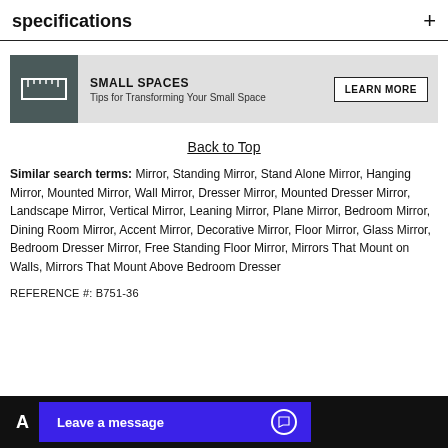specifications +
[Figure (infographic): Small Spaces banner with ruler icon, text 'SMALL SPACES Tips for Transforming Your Small Space' and a 'LEARN MORE' button]
Back to Top
Similar search terms: Mirror, Standing Mirror, Stand Alone Mirror, Hanging Mirror, Mounted Mirror, Wall Mirror, Dresser Mirror, Mounted Dresser Mirror, Landscape Mirror, Vertical Mirror, Leaning Mirror, Plane Mirror, Bedroom Mirror, Dining Room Mirror, Accent Mirror, Decorative Mirror, Floor Mirror, Glass Mirror, Bedroom Dresser Mirror, Free Standing Floor Mirror, Mirrors That Mount on Walls, Mirrors That Mount Above Bedroom Dresser
REFERENCE #: B751-36
Leave a message